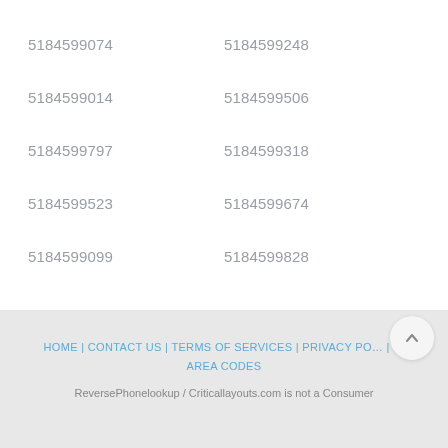5184599074
5184599248
5184599014
5184599506
5184599797
5184599318
5184599523
5184599674
5184599099
5184599828
HOME | CONTACT US | TERMS OF SERVICES | PRIVACY POLICY | AREA CODES
ReversePhonelookup / Criticallayouts.com is not a Consumer